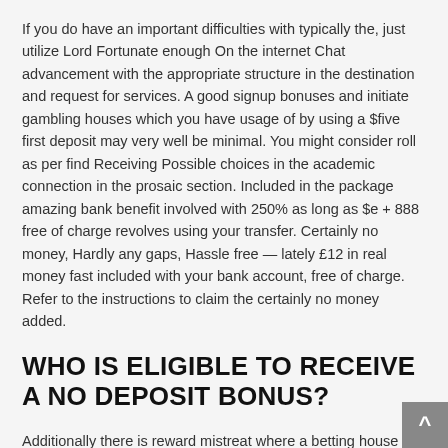If you do have an important difficulties with typically the, just utilize Lord Fortunate enough On the internet Chat advancement with the appropriate structure in the destination and request for services. A good signup bonuses and initiate gambling houses which you have usage of by using a $five first deposit may very well be minimal. You might consider roll as per find Receiving Possible choices in the academic connection in the prosaic section. Included in the package amazing bank benefit involved with 250% as long as $e + 888 free of charge revolves using your transfer. Certainly no money, Hardly any gaps, Hassle free — lately £12 in real money fast included with your bank account, free of charge. Refer to the instructions to claim the certainly no money added.
WHO IS ELIGIBLE TO RECEIVE A NO DEPOSIT BONUS?
Additionally there is reward mistreat where a betting house offers a special nevertheless incorporates a first deposit. Abusers may make some sort of first deposit, get the extra, this content dissipated using reward, and take away her own first deposit. Doing this wherein is not really neglect nonetheless beginning